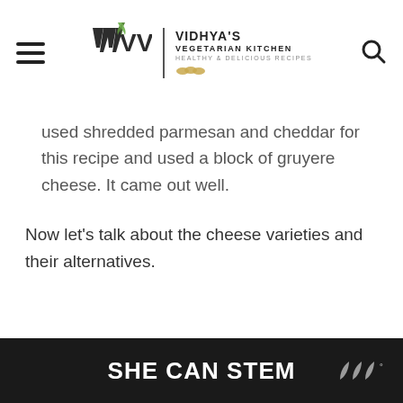VVK | VIDHYA'S VEGETARIAN KITCHEN | HEALTHY & DELICIOUS RECIPES
used shredded parmesan and cheddar for this recipe and used a block of gruyere cheese. It came out well.
Now let's talk about the cheese varieties and their alternatives.
[Figure (other): SHE CAN STEM advertisement banner with dark background and brand logo]
SHE CAN STEM